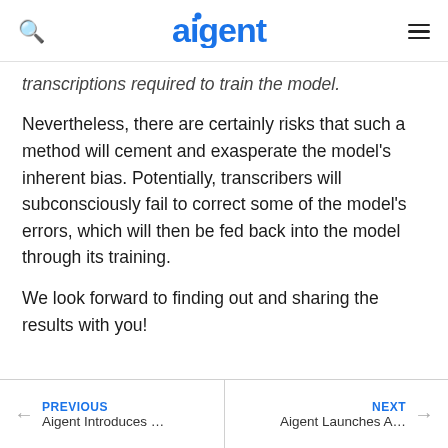aigent
transcriptions required to train the model.
Nevertheless, there are certainly risks that such a method will cement and exasperate the model’s inherent bias. Potentially, transcribers will subconsciously fail to correct some of the model’s errors, which will then be fed back into the model through its training.
We look forward to finding out and sharing the results with you!
PREVIOUS Aigent Introduces … | NEXT Aigent Launches A…